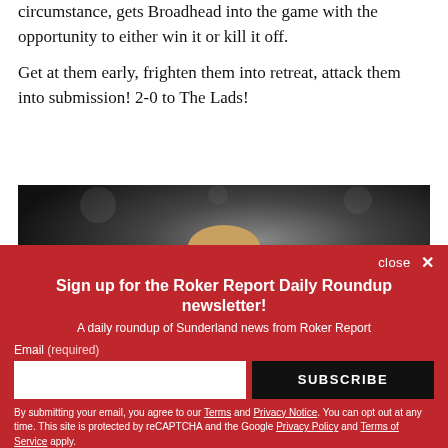circumstance, gets Broadhead into the game with the opportunity to either win it or kill it off.
Get at them early, frighten them into retreat, attack them into submission! 2-0 to The Lads!
[Figure (photo): A photo of a footballer, close-up, dark stadium background]
close ×
Sign up for the Roker Report Daily Roundup newsletter!
A daily roundup of Sunderland news from Roker Report
Email (required)
SUBSCRIBE
By submitting your email, you agree to our Terms and Privacy Notice. You can opt out at any time. This site is protected by reCAPTCHA and the Google Privacy Policy and Terms of Service apply.